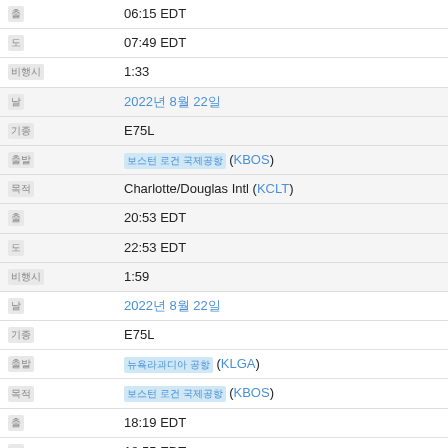| 출발 | 06:15 EDT |
| 도착 | 07:49 EDT |
| 비행시간 | 1:33 |
| 날짜 | 2022년 8월 22일 |
| 기종 | E75L |
| 출발지 | 보스턴 로건 국제공항 (KBOS) |
| 목적지 | Charlotte/Douglas Intl (KCLT) |
| 출발 | 20:53 EDT |
| 도착 | 22:53 EDT |
| 비행시간 | 1:59 |
| 날짜 | 2022년 8월 22일 |
| 기종 | E75L |
| 출발지 | 뉴욕 라과디아 공항 (KLGA) |
| 목적지 | 보스턴 로건 국제공항 (KBOS) |
| 출발 | 18:19 EDT |
| 도착 | 18:55 EDT |
| 비행시간 | 0:35 |
| 날짜 | 2022년 8월 22일 |
| 기종 | E75L |
| 목적지 | Charlotte/Douglas Intl (KCLT) |